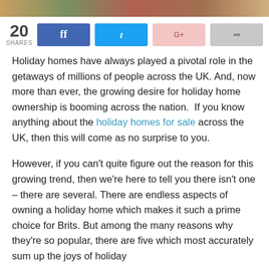[Figure (photo): Decorative photo strip at top of page showing outdoor/people scene]
20 SHARES with social sharing buttons for Facebook, Twitter, Google+, and forward/share
Holiday homes have always played a pivotal role in the getaways of millions of people across the UK. And, now more than ever, the growing desire for holiday home ownership is booming across the nation.  If you know anything about the holiday homes for sale across the UK, then this will come as no surprise to you.
However, if you can't quite figure out the reason for this growing trend, then we're here to tell you there isn't one – there are several. There are endless aspects of owning a holiday home which makes it such a prime choice for Brits. But among the many reasons why they're so popular, there are five which most accurately sum up the joys of holiday